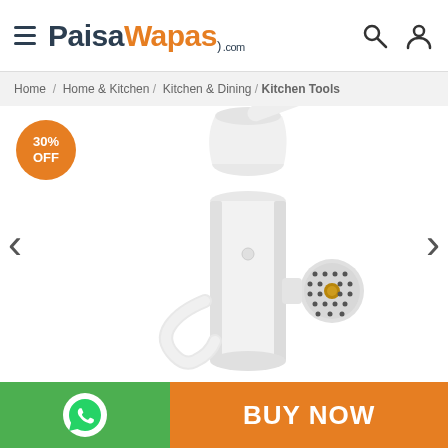PaisaWapas.com
Home / Home & Kitchen / Kitchen & Dining / Kitchen Tools
[Figure (photo): White manual meat grinder / kitchen tool with a crank handle, hopper, and perforated disc outlet, shown close-up on white background. 30% OFF badge in top-left corner. Left and right navigation arrows on sides.]
BUY NOW